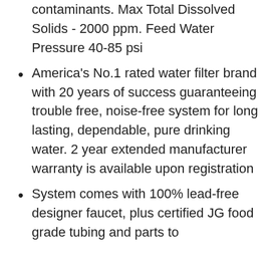contaminants. Max Total Dissolved Solids - 2000 ppm. Feed Water Pressure 40-85 psi
America's No.1 rated water filter brand with 20 years of success guaranteeing trouble free, noise-free system for long lasting, dependable, pure drinking water. 2 year extended manufacturer warranty is available upon registration
System comes with 100% lead-free designer faucet, plus certified JG food grade tubing and parts to